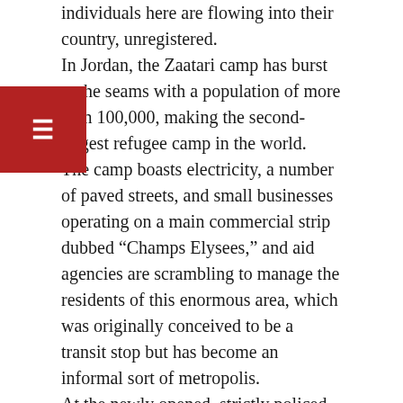individuals here are flowing into their country, unregistered. In Jordan, the Zaatari camp has burst at the seams with a population of more than 100,000, making the second-largest refugee camp in the world. The camp boasts electricity, a number of paved streets, and small businesses operating on a main commercial strip dubbed “Champs Elysees,” and aid agencies are scrambling to manage the residents of this enormous area, which was originally conceived to be a transit stop but has become an informal sort of metropolis. At the newly opened, strictly policed UN-run Azraq camp, which is also expected to house around 100,000 refugees, officials hope that better organization and regulations will prevent